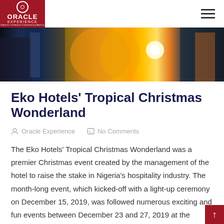Oracle Experience
[Figure (photo): Hero banner image showing colorful festival/event scene with people in vibrant costumes and bright lights]
Eko Hotels' Tropical Christmas Wonderland
Oracle Experience   No Comments
The Eko Hotels' Tropical Christmas Wonderland was a premier Christmas event created by the management of the hotel to raise the stake in Nigeria's hospitality industry. The month-long event, which kicked-off with a light-up ceremony on December 15, 2019, was followed numerous exciting and fun events between December 23 and 27, 2019 at the hotel's [...]